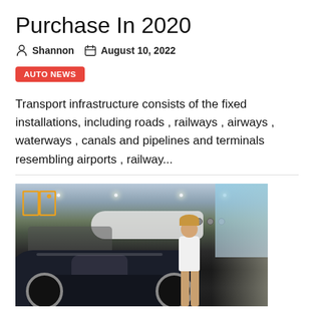Purchase In 2020
Shannon  August 10, 2022
AUTO NEWS
Transport infrastructure consists of the fixed installations, including roads , railways , airways , waterways , canals and pipelines and terminals resembling airports , railway...
[Figure (photo): A woman in a white shirt and shorts standing next to a dark luxury sports car (Bugatti Chiron) in an aircraft hangar with a private jet in the background. A book/bookmark icon overlay is in the top left corner of the image.]